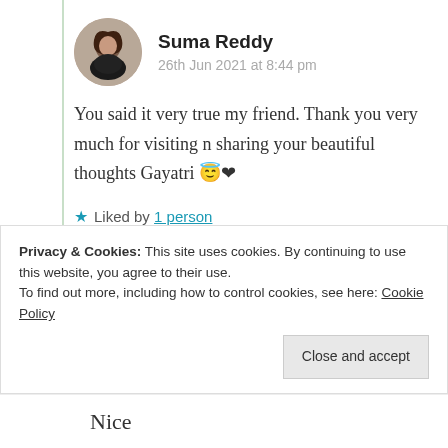Suma Reddy
26th Jun 2021 at 8:44 pm
You said it very true my friend. Thank you very much for visiting n sharing your beautiful thoughts Gayatri 😇❤
★ Liked by 1 person
Log in to Reply
Privacy & Cookies: This site uses cookies. By continuing to use this website, you agree to their use.
To find out more, including how to control cookies, see here: Cookie Policy
Close and accept
Nice